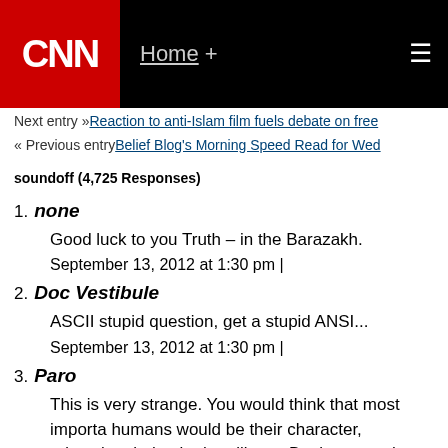CNN - Home + [menu]
Next entry » Reaction to anti-Islam film fuels debate on free
« Previous entry Belief Blog's Morning Speed Read for Wed
soundoff (4,725 Responses)
1. none
Good luck to you Truth – in the Barazakh.
September 13, 2012 at 1:30 pm |
2. Doc Vestibule
ASCII stupid question, get a stupid ANSI...
September 13, 2012 at 1:30 pm |
3. Paro
This is very strange. You would think that most importa humans would be their character, education, behavior humility to. But it seems that being in a position...